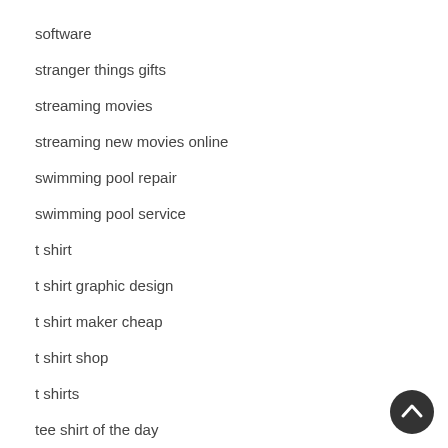software
stranger things gifts
streaming movies
streaming new movies online
swimming pool repair
swimming pool service
t shirt
t shirt graphic design
t shirt maker cheap
t shirt shop
t shirts
tee shirt of the day
tooth whitening